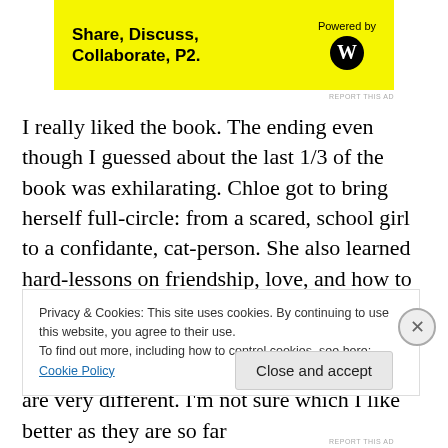[Figure (other): Advertisement banner with yellow background. Text reads 'Share, Discuss, Collaborate, P2.' with 'Powered by' and WordPress logo on the right.]
REPORT THIS AD
I really liked the book. The ending even though I guessed about the last 1/3 of the book was exhilarating. Chloe got to bring herself full-circle: from a scared, school girl to a confidante, cat-person. She also learned hard-lessons on friendship, love, and how to defend herself. It is both poignant and sad. If you watched the TV show, you'll see the events and motives behind certain characters are very different. I'm not sure which I like better as they are so far
Privacy & Cookies: This site uses cookies. By continuing to use this website, you agree to their use.
To find out more, including how to control cookies, see here: Cookie Policy
Close and accept
REPORT THIS AD